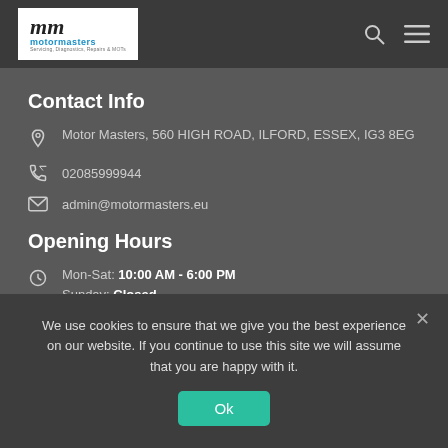Motor Masters logo, search and menu icons
Contact Info
Motor Masters, 560 HIGH ROAD, ILFORD, ESSEX, IG3 8EG
02085999944
admin@motormasters.eu
Opening Hours
Mon-Sat: 10:00 AM - 6:00 PM
Sunday: Closed
We use cookies to ensure that we give you the best experience on our website. If you continue to use this site we will assume that you are happy with it.